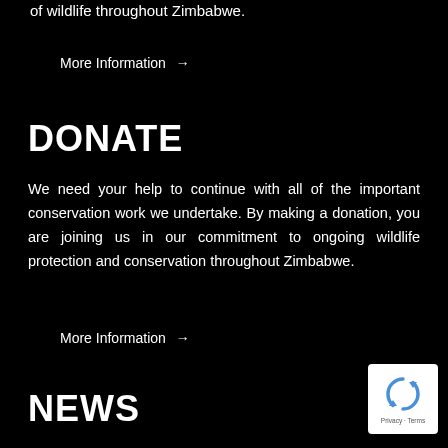of wildlife throughout Zimbabwe.
More Information →
DONATE
We need your help to continue with all of the important conservation work we undertake. By making a donation, you are joining us in our commitment to ongoing wildlife protection and conservation throughout Zimbabwe.
More Information →
NEWS
[Figure (logo): reCAPTCHA badge with circular arrow logo and Privacy - Terms text]